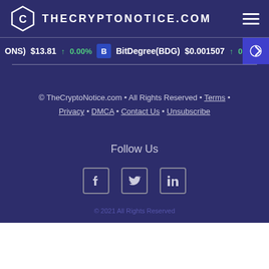THECRYPTONOTICE.COM
(ONS) $13.81 ↑ 0.00%  BitDegree(BDG) $0.001507 ↑ 0.00%
© TheCryptoNotice.com • All Rights Reserved • Terms • Privacy • DMCA • Contact Us • Unsubscribe
Follow Us
[Figure (illustration): Social media icons: Facebook, Twitter, LinkedIn]
© 2021 All Rights Reserved